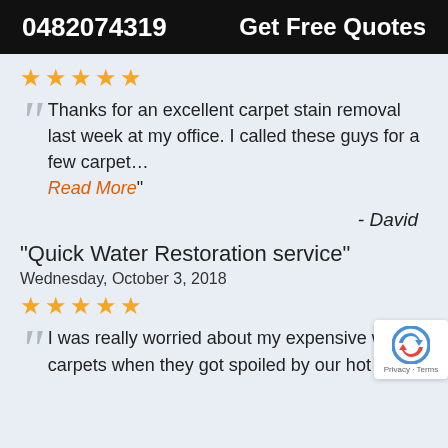0482074319  Get Free Quotes
★★★★★
Thanks for an excellent carpet stain removal last week at my office. I called these guys for a few carpet… Read More"
- David
“Quick Water Restoration service”
Wednesday, October 3, 2018
★★★★★
I was really worried about my expensive woo carpets when they got spoiled by our hot water